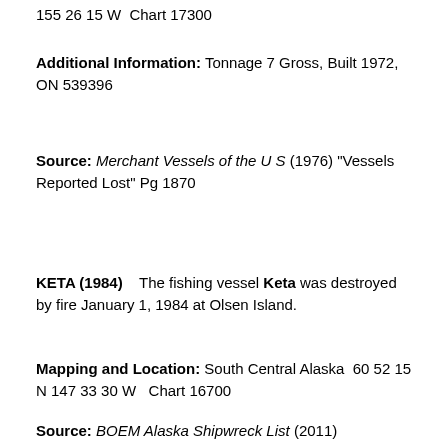155 26 15 W  Chart 17300
Additional Information: Tonnage 7 Gross, Built 1972, ON 539396
Source: Merchant Vessels of the U S (1976) "Vessels Reported Lost" Pg 1870
KETA (1984)    The fishing vessel Keta was destroyed by fire January 1, 1984 at Olsen Island.
Mapping and Location: South Central Alaska  60 52 15 N 147 33 30 W   Chart 16700
Source: BOEM Alaska Shipwreck List (2011)